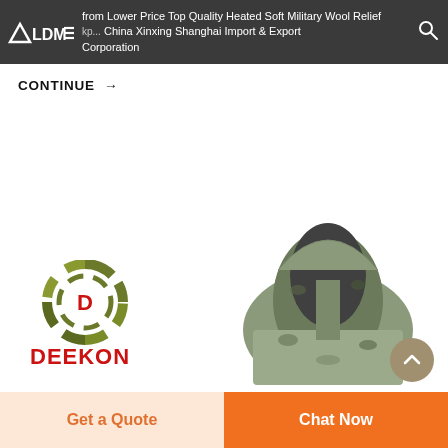from Lower Price Top Quality Heated Soft Military Wool Relief ... China Xinxing Shanghai Import & Export Corporation — ALDME (logo)
CONTINUE →
[Figure (photo): Product image showing a military camouflage jacket hood (ACU pattern) displayed against a white background, with the DEEKON brand logo (camo circle with red D and red DEEKON text) visible at the lower left]
Get a Quote
Chat Now